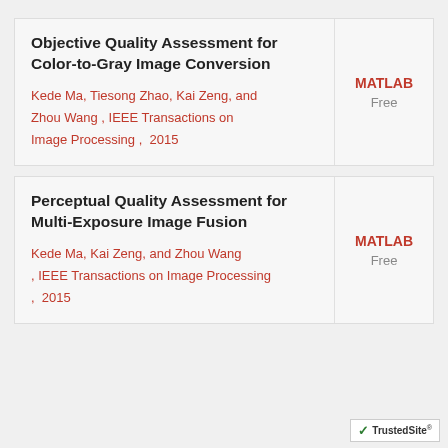Objective Quality Assessment for Color-to-Gray Image Conversion
Kede Ma, Tiesong Zhao, Kai Zeng, and Zhou Wang , IEEE Transactions on Image Processing ,  2015
MATLAB
Free
Perceptual Quality Assessment for Multi-Exposure Image Fusion
Kede Ma, Kai Zeng, and Zhou Wang , IEEE Transactions on Image Processing ,  2015
MATLAB
Free